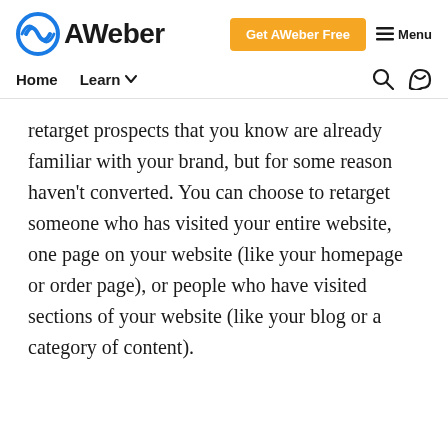AWeber — Get AWeber Free | Menu
Home | Learn
retarget prospects that you know are already familiar with your brand, but for some reason haven't converted. You can choose to retarget someone who has visited your entire website, one page on your website (like your homepage or order page), or people who have visited sections of your website (like your blog or a category of content).